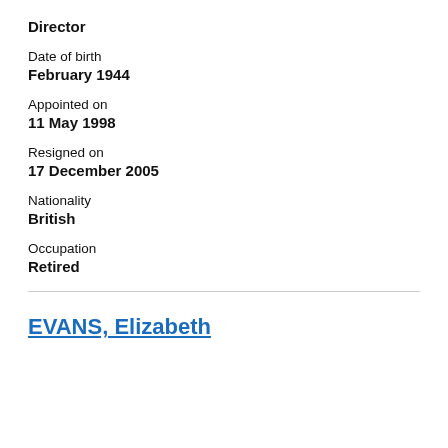Director
Date of birth
February 1944
Appointed on
11 May 1998
Resigned on
17 December 2005
Nationality
British
Occupation
Retired
EVANS, Elizabeth